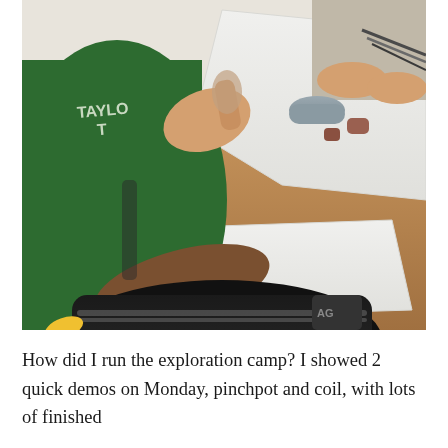[Figure (photo): Students sitting at a wooden table working with clay. One student wears a green 'Taylor' hoodie and holds a piece of clay. Clay pieces and tools are visible on white boards on the table. A backpack is visible in the foreground.]
How did I run the exploration camp? I showed 2 quick demos on Monday, pinchpot and coil, with lots of finished